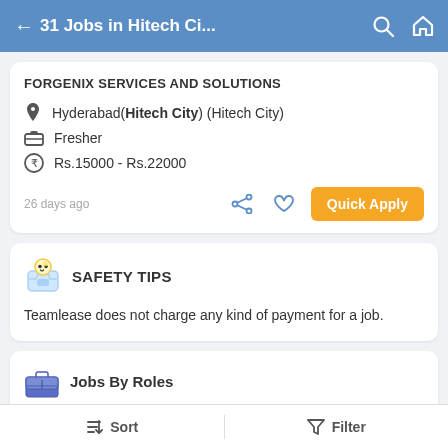← 31 Jobs in Hitech Ci...
FORGENIX SERVICES AND SOLUTIONS
Hyderabad(Hitech City) (Hitech City)
Fresher
Rs.15000 - Rs.22000
26 days ago
SAFETY TIPS
Teamlease does not charge any kind of payment for a job.
Jobs By Roles
Accountant | Admin | Agriculture and Dairy |
Sort   Filter